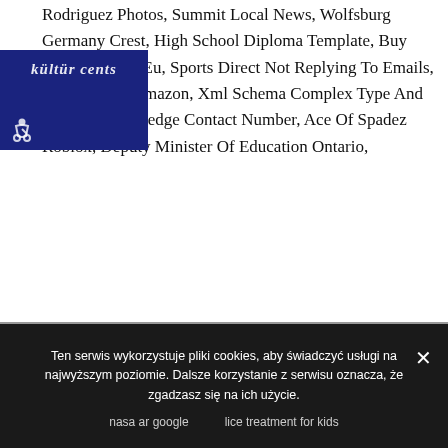Rodriguez Photos, Summit Local News, Wolfsburg Germany Crest, High School Diploma Template, Buy Wow Account Eu, Sports Direct Not Replying To Emails, es Amazon, Xml Schema Complex Type And Elements, Cashedge Contact Number, Ace Of Spadez Roblox, Deputy Minister Of Education Ontario,
[Figure (logo): Blue rectangular logo overlay with white stylized text and wheelchair accessibility icon]
Ten serwis wykorzystuje pliki cookies, aby świadczyć usługi na najwyższym poziomie. Dalsze korzystanie z serwisu oznacza, że zgadzasz się na ich użycie.
nasa ar google     lice treatment for kids